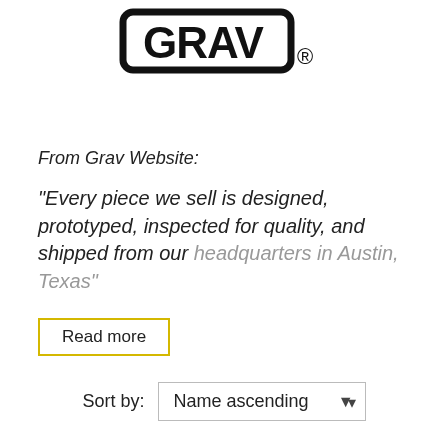[Figure (logo): GRAV logo in bold black lettering with registered trademark symbol]
From Grav Website:
"Every piece we sell is designed, prototyped, inspected for quality, and shipped from our headquarters in Austin, Texas"
Read more
Sort by: Name ascending